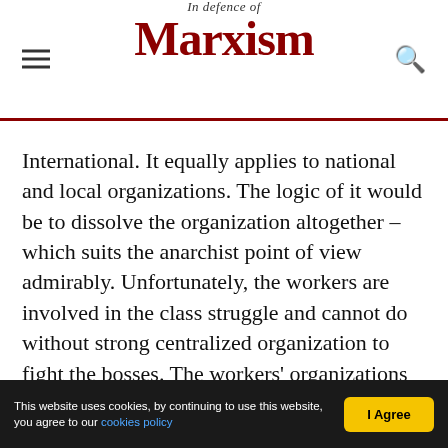In Defence of Marxism
International. It equally applies to national and local organizations. The logic of it would be to dissolve the organization altogether – which suits the anarchist point of view admirably. Unfortunately, the workers are involved in the class struggle and cannot do without strong centralized organization to fight the bosses. The workers' organizations are very democratic and willing to discuss different opinions as to whether to call a strike or not. But at the end of the day, the issue is put to the vote and the majority decides.
The question is: what is the real character of a
This website uses cookies, by continuing to use this website, you agree to our cookies policy | I Agree